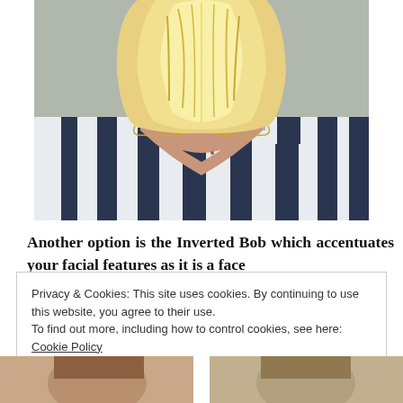[Figure (photo): Back view of a woman with a short blonde bob haircut, wearing a white and navy striped top with a low back neckline, photographed from behind]
Another option is the Inverted Bob which accentuates your facial features as it is a face
Privacy & Cookies: This site uses cookies. By continuing to use this website, you agree to their use.
To find out more, including how to control cookies, see here: Cookie Policy
Close and accept
[Figure (photo): Bottom edge of photos showing people with various hairstyles, partially visible]